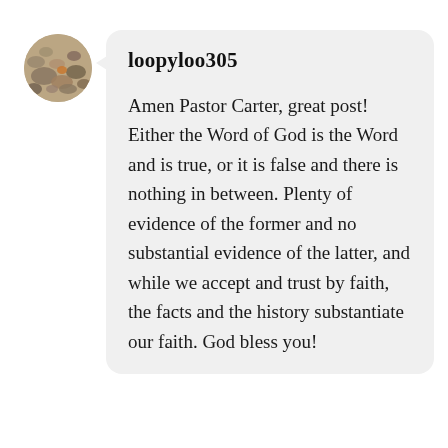[Figure (photo): Circular avatar photo showing pebbles/stones on a beach surface, natural earthy tones.]
loopyloo305
Amen Pastor Carter, great post! Either the Word of God is the Word and is true, or it is false and there is nothing in between. Plenty of evidence of the former and no substantial evidence of the latter, and while we accept and trust by faith, the facts and the history substantiate our faith. God bless you!